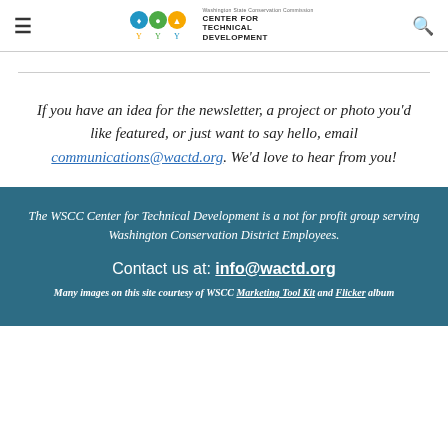Washington State Conservation Commission Center for Technical Development — navigation header with logo and search icon
If you have an idea for the newsletter, a project or photo you'd like featured, or just want to say hello, email communications@wactd.org. We'd love to hear from you!
The WSCC Center for Technical Development is a not for profit group serving Washington Conservation District Employees.
Contact us at: info@wactd.org
Many images on this site courtesy of WSCC Marketing Tool Kit and Flicker album